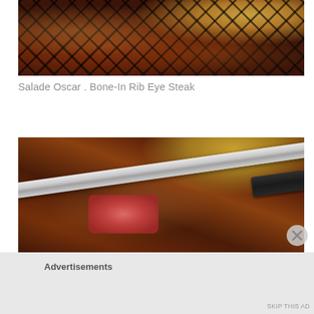[Figure (photo): Close-up photo of a grilled bone-in rib eye steak with crosshatch grill marks, with a grilled lemon half visible in the upper right corner. The steak appears glossy and well-seared.]
Salade Oscar . Bone-In Rib Eye Steak
[Figure (photo): Close-up photo of a bone-in rib eye steak being cut with a steak knife, revealing a pink medium-rare interior. A grilled lemon is visible in the upper background. The knife cuts diagonally across the frame.]
Advertisements